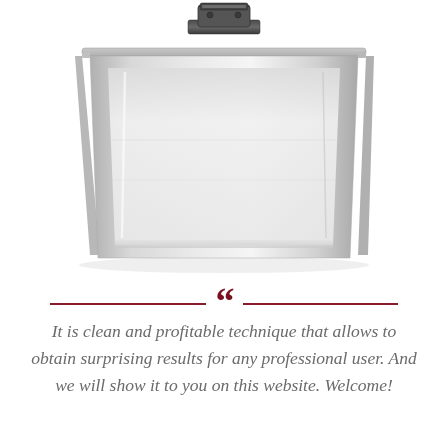[Figure (photo): A stainless steel rectangular container or food pan with a dark-colored handle/clip attached at the top center, photographed on a white background.]
It is clean and profitable technique that allows to obtain surprising results for any professional user. And we will show it to you on this website. Welcome!